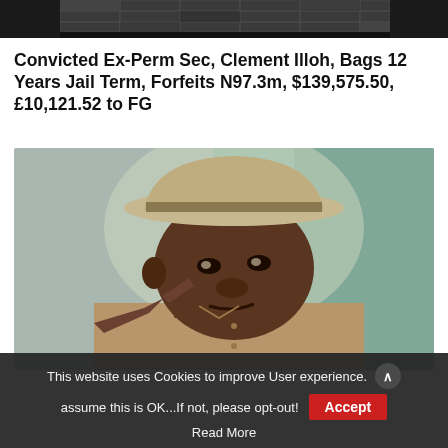[Figure (photo): Top strip of a dark image, appears to be a skyline or building facade with a grid/window pattern]
Convicted Ex-Perm Sec, Clement Illoh, Bags 12 Years Jail Term, Forfeits N97.3m, $139,575.50, £10,121.52 to FG
[Figure (photo): Portrait photo of an elderly Black man wearing a wide-brimmed beige/grey hat and a khaki/tan button-up shirt, pointing with his right hand, with a teal/green background]
This website uses Cookies to improve User experience. assume this is OK...If not, please opt-out! Accept Read More